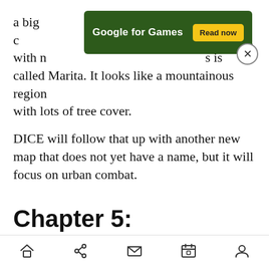[Figure (screenshot): Google for Games advertisement banner with dark green background, white text 'Google for Games', yellow 'Read now' button, and a close (X) button]
a big ... al with n... ps is called Marita. It looks like a mountainous region with lots of tree cover.
DICE will follow that up with another new map that does not yet have a name, but it will focus on urban combat.
Chapter 5: Awakening the Giant
In the fall, DICE is going to launch Chapter 5. The only thing that DICE is saying about this is that it
Navigation bar with home, share, mail, calendar, and profile icons